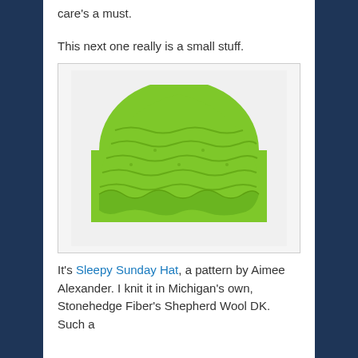care's a must.
This next one really is a small stuff.
[Figure (photo): A green knitted hat (beanie) with a textured lace/cable pattern and scalloped brim, photographed on a white background.]
It's Sleepy Sunday Hat, a pattern by Aimee Alexander. I knit it in Michigan's own, Stonehedge Fiber's Shepherd Wool DK. Such a